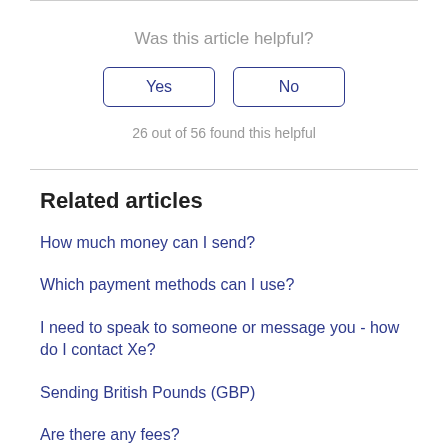Was this article helpful?
Yes
No
26 out of 56 found this helpful
Related articles
How much money can I send?
Which payment methods can I use?
I need to speak to someone or message you - how do I contact Xe?
Sending British Pounds (GBP)
Are there any fees?